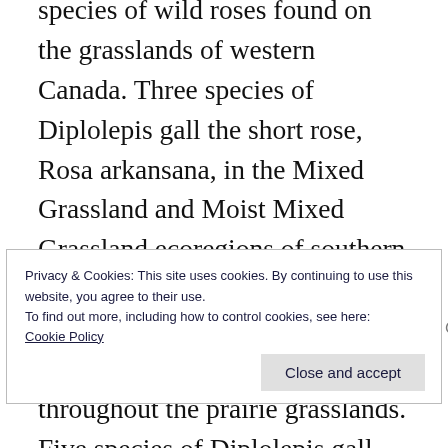species of wild roses found on the grasslands of western Canada. Three species of Diplolepis gall the short rose, Rosa arkansana, in the Mixed Grassland and Moist Mixed Grassland ecoregions of southern Alberta and Saskatchewan, and eight species gall the common prairie rose, R. woodsii, throughout the prairie grasslands. Five species of Diplolepis gall the larger rose, R. acicularis, in more shaded regions such as the Aspen Parkland
Privacy & Cookies: This site uses cookies. By continuing to use this website, you agree to their use.
To find out more, including how to control cookies, see here:
Cookie Policy